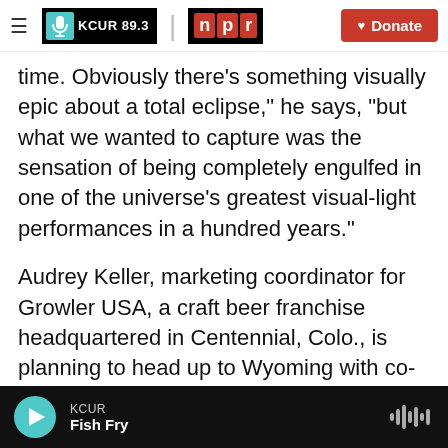≡ KCUR 89.3 | npr ♥ Donate
time.  Obviously there's something visually epic about a total eclipse," he says, "but what we wanted to capture was the sensation of being completely engulfed in one of the universe's greatest visual-light performances in a hundred years."
Audrey Keller, marketing coordinator for Growler USA, a craft beer franchise headquartered in Centennial, Colo., is planning to head up to Wyoming with co-workers to get the full eclipse experience — and she sees beer as a good accompaniment.
KCUR Fish Fry